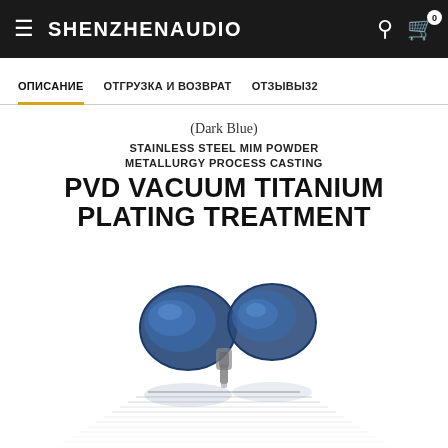SHENZHENAUDIO
ОПИСАНИЕ | ОТГРУЗКА И ВОЗВРАТ | ОТЗЫВЫ32
(Dark Blue)
STAINLESS STEEL MIM POWDER METALLURGY PROCESS CASTING
PVD VACUUM TITANIUM PLATING TREATMENT
[Figure (photo): Dark blue stainless steel in-ear monitors (IEM earphones) with metallic blue finish, shown with a water reflection effect beneath them on a white background.]